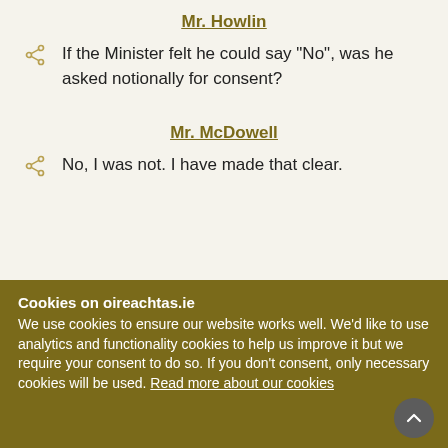Mr. Howlin
If the Minister felt he could say "No", was he asked notionally for consent?
Mr. McDowell
No, I was not. I have made that clear.
Cookies on oireachtas.ie
We use cookies to ensure our website works well. We'd like to use analytics and functionality cookies to help us improve it but we require your consent to do so. If you don't consent, only necessary cookies will be used. Read more about our cookies
Manage cookies
Accept all cookies